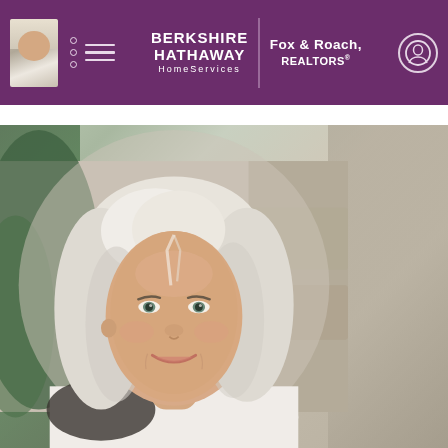[Figure (screenshot): Berkshire Hathaway HomeServices Fox & Roach REALTORS website header with purple/maroon background, showing agent thumbnail photo on left, hamburger menu, company logo in center, and profile icon on right]
[Figure (photo): Professional headshot of a woman with short silver/white hair, fair skin, light eyes, wearing a light-colored top, smiling, photographed against a blurred background with green foliage and stone elements]